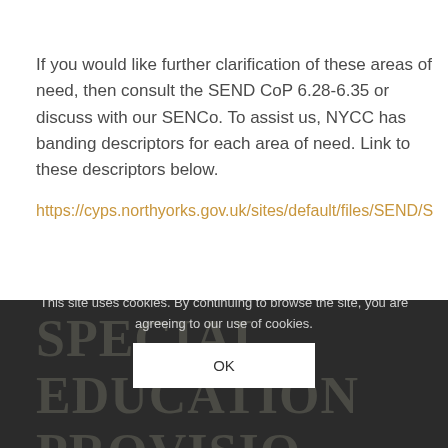If you would like further clarification of these areas of need, then consult the SEND CoP 6.28-6.35 or discuss with our SENCo. To assist us, NYCC has banding descriptors for each area of need. Link to these descriptors below.
https://cyps.northyorks.gov.uk/sites/default/files/SEND/S
[Figure (other): Dark footer banner with large bold text reading SPECIAL EDUCATIONAL PROVISION partially visible]
This site uses cookies. By continuing to browse the site, you are agreeing to our use of cookies.